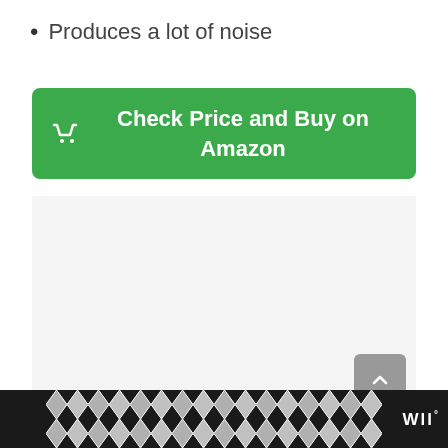Produces a lot of noise
[Figure (other): Green button: shopping cart icon followed by text 'Check Price and Buy on Amazon']
[Figure (other): Gray content area placeholder]
[Figure (other): Dark footer with geometric chevron pattern and W degree logo]